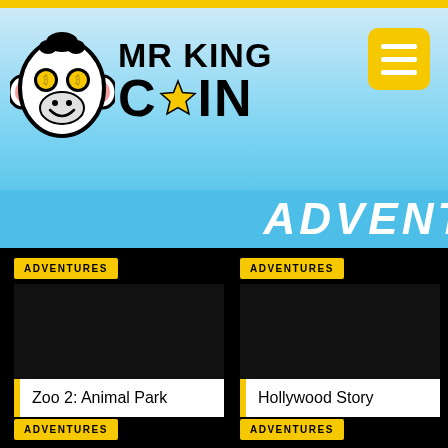[Figure (logo): Mr King Coin logo — monkey face with coin eyes and yellow star, with text MR KING COIN]
MR KING COIN
ADVENTURES
[Figure (screenshot): Card thumbnail for Zoo 2: Animal Park game, black background]
ADVENTURES
Zoo 2: Animal Park
[Figure (screenshot): Card thumbnail for Hollywood Story game, black background]
ADVENTURES
Hollywood Story
ADVENTURES
ADVENTURES